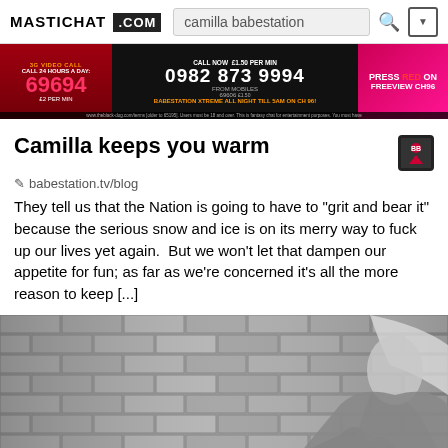MASTICHAT .COM  camilla babestation
[Figure (photo): Babestation TV advertisement banner showing phone numbers: 69694, 0982 873 9994, with text '3G VIDEO CALL', 'CALL 24 HOURS A DAY', 'FROM MOBILES 69606', 'PRESS RED ON FREEVIEW CH96', 'BABESTATION XTREME ALL NIGHT TILL 5AM ON CH 96']
Camilla keeps you warm
babestation.tv/blog
They tell us that the Nation is going to have to "grit and bear it" because the serious snow and ice is on its merry way to fuck up our lives yet again.  But we won't let that dampen our appetite for fun; as far as we're concerned it's all the more reason to keep [...]
[Figure (photo): Black and white photo of a blonde woman posing in front of a brick wall, sitting on an ornate chair]